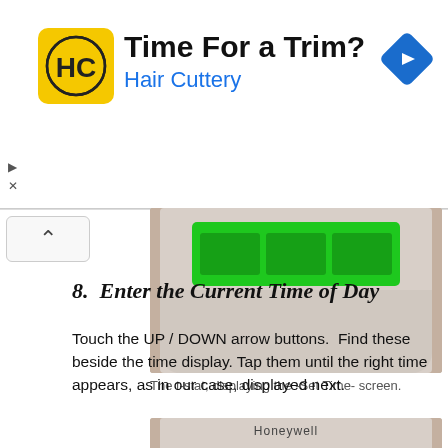[Figure (screenshot): Advertisement banner for Hair Cuttery with yellow logo showing HC letters, text 'Time For a Trim?' and 'Hair Cuttery' in blue, and a blue navigation diamond icon on the right]
[Figure (photo): Top portion of a Honeywell thermostat displaying the Set Time screen with green backlit display segments visible]
The t-stat, displaying the -Set Time- screen.
8.  Enter the Current Time of Day
Touch the UP / DOWN arrow buttons.  Find these beside the time display. Tap them until the right time appears, as in our case, displayed next.
[Figure (photo): Bottom portion of a Honeywell thermostat showing the Honeywell brand name and the beginning of a green backlit display]